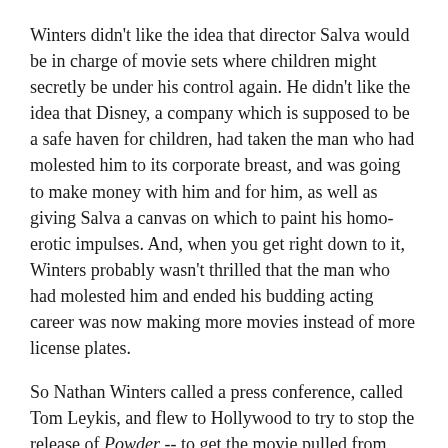Winters didn't like the idea that director Salva would be in charge of movie sets where children might secretly be under his control again. He didn't like the idea that Disney, a company which is supposed to be a safe haven for children, had taken the man who had molested him to its corporate breast, and was going to make money with him and for him, as well as giving Salva a canvas on which to paint his homo-erotic impulses. And, when you get right down to it, Winters probably wasn't thrilled that the man who had molested him and ended his budding acting career was now making more movies instead of more license plates.
So Nathan Winters called a press conference, called Tom Leykis, and flew to Hollywood to try to stop the release of Powder -- to get the movie pulled from distribution. Supporters are urging a boycott both of Powder and of all Disney products. The calls coming in to the Leykis show, if Leykis's call screeners are being at all even-handed, are coming in strongly supportive of Winters and against Disney.
The film industry has battened down the hatches and